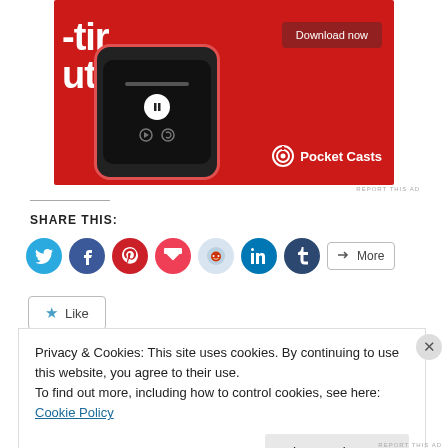[Figure (advertisement): Pocket Casts app advertisement on red background with phone mockup and 'Download now' button]
REPORT THIS AD
SHARE THIS:
[Figure (infographic): Social share buttons: Twitter, Facebook, Pinterest, Pocket, Reddit, LinkedIn, Tumblr, More]
[Figure (infographic): Like button with star icon]
Privacy & Cookies: This site uses cookies. By continuing to use this website, you agree to their use.
To find out more, including how to control cookies, see here: Cookie Policy
Close and accept